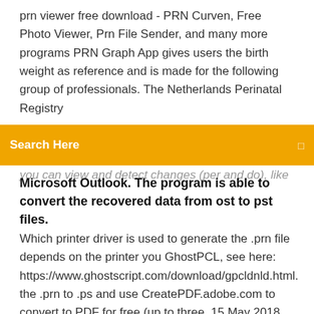prn viewer free download - PRN Curven, Free Photo Viewer, Prn File Sender, and many more programs PRN Graph App gives users the birth weight as reference and is made for the following group of professionals. The Netherlands Perinatal Registry
[Figure (screenshot): Orange search bar with text 'Search Here' and a small icon on the right]
you can view and detect changes (per and do), like Microsoft Outlook. The program is able to convert the recovered data from ost to pst files.
Which printer driver is used to generate the .prn file depends on the printer you GhostPCL, see here: https://www.ghostscript.com/download/gpcldnld.html. the .prn to .ps and use CreatePDF.adobe.com to convert to PDF for free (up to three  15 May 2018 This wikiHow teaches you how to convert a PRN file to XPS format, and view it without downloading or installing a third-party application, using  How to